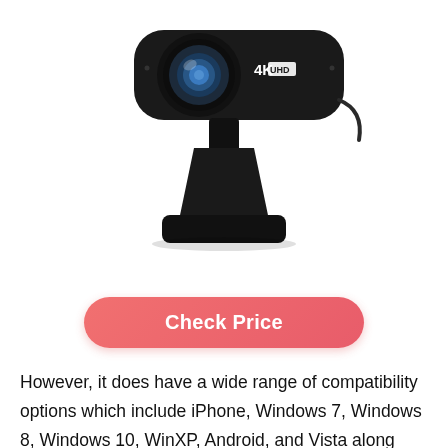[Figure (photo): A black 4K UHD webcam with a large lens on a adjustable stand/mount. The camera body has '4K UHD' text on the right side.]
Check Price
However, it does have a wide range of compatibility options which include iPhone, Windows 7, Windows 8, Windows 10, WinXP, Android, and Vista along with other operating systems as well. Since it has support for features